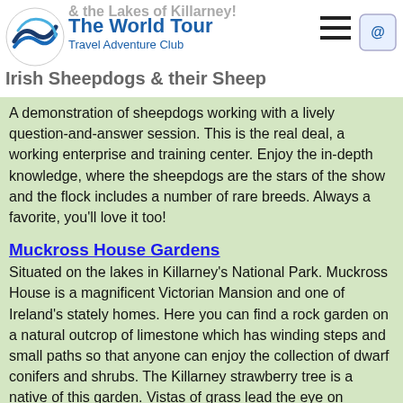The World Tour Travel Adventure Club
A demonstration of sheepdogs working with a lively question-and-answer session. This is the real deal, a working enterprise and training center. Enjoy the in-depth knowledge, where the sheepdogs are the stars of the show and the flock includes a number of rare breeds. Always a favorite, you'll love it too!
Muckross House Gardens
Situated on the lakes in Killarney's National Park. Muckross House is a magnificent Victorian Mansion and one of Ireland's stately homes. Here you can find a rock garden on a natural outcrop of limestone which has winding steps and small paths so that anyone can enjoy the collection of dwarf conifers and shrubs. The Killarney strawberry tree is a native of this garden. Vistas of grass lead the eye on through mounds of mature rhododendrons, punctuated by the boles of Scots pine.
Ferry crossing: Tarbert -> Kilimer
The Shannon Ferry will take us on this memorable journey across the estuary linking the iconic tourist destinations of the Banner County of Clare to the